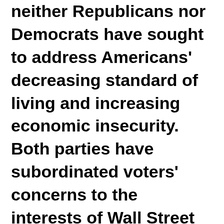neither Republicans nor Democrats have sought to address Americans' decreasing standard of living and increasing economic insecurity. Both parties have subordinated voters' concerns to the interests of Wall Street and corporations. Therefore, in states like South Carolina Democratic party politics is fundamentally transactional, where people are habituated to making electoral